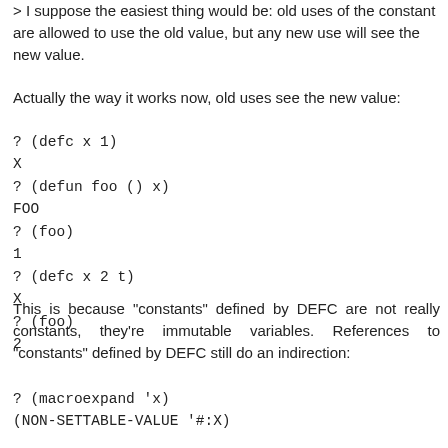> I suppose the easiest thing would be: old uses of the constant are allowed to use the old value, but any new use will see the new value.
Actually the way it works now, old uses see the new value:
? (defc x 1)
X
? (defun foo () x)
FOO
? (foo)
1
? (defc x 2 t)
X
? (foo)
2
This is because "constants" defined by DEFC are not really constants, they're immutable variables. References to "constants" defined by DEFC still do an indirection:
? (macroexpand 'x)
(NON-SETTABLE-VALUE '#:X)